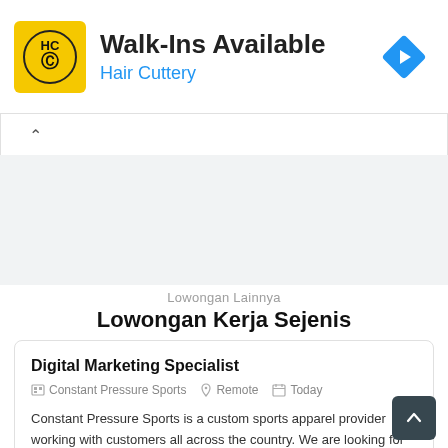[Figure (logo): Hair Cuttery advertisement banner with HC logo in yellow square, title 'Walk-Ins Available' and subtitle 'Hair Cuttery' in blue, with blue navigation diamond icon on the right]
[Figure (other): Collapse/chevron bar with up-arrow, and gray background filler area]
Lowongan Lainnya
Lowongan Kerja Sejenis
Digital Marketing Specialist
Constant Pressure Sports   Remote   Today
Constant Pressure Sports is a custom sports apparel provider working with customers all across the country. We are looking for